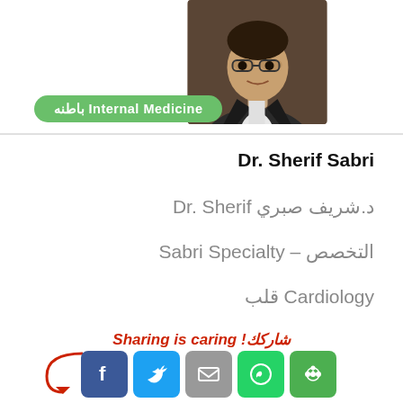[Figure (photo): Profile photo of Dr. Sherif Sabri, a man wearing glasses and a dark suit with white shirt]
Internal Medicine باطنه
Dr. Sherif Sabri
د.شريف صبري Dr. Sherif
التخصص – Sabri Specialty
Cardiology قلب
Sharing is caring! شاركك